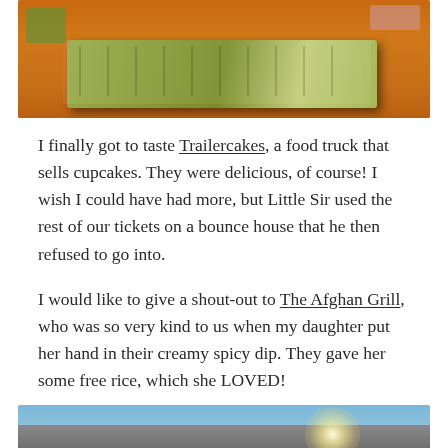[Figure (photo): Photo of booklets or cards arranged on an orange background, showing green-covered items stacked in a fan or row pattern]
I finally got to taste Trailercakes, a food truck that sells cupcakes. They were delicious, of course! I wish I could have had more, but Little Sir used the rest of our tickets on a bounce house that he then refused to go into.
I would like to give a shout-out to The Afghan Grill, who was so very kind to us when my daughter put her hand in their creamy spicy dip. They gave her some free rice, which she LOVED!
[Figure (photo): Photo of The Afghan Grill Restaurant Lounge sign, showing golden/orange lettering on a curved awning with a blue sky background and sun flare]